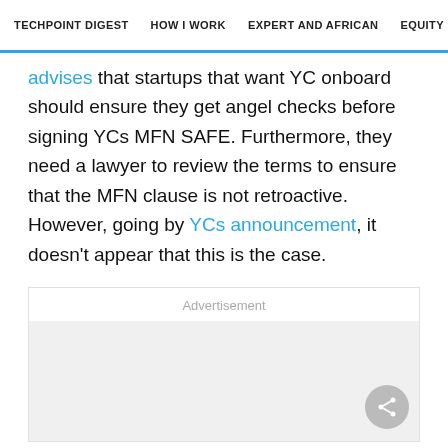TECHPOINT DIGEST   HOW I WORK   EXPERT AND AFRICAN   EQUITY
advises that startups that want YC onboard should ensure they get angel checks before signing YCs MFN SAFE. Furthermore, they need a lawyer to review the terms to ensure that the MFN clause is not retroactive. However, going by YCs announcement, it doesn't appear that this is the case.
Advertisement